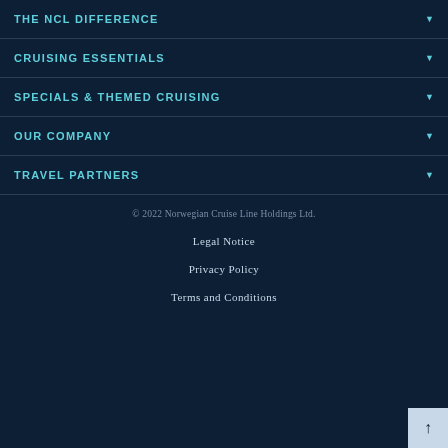THE NCL DIFFERENCE
CRUISING ESSENTIALS
SPECIALS & THEMED CRUISING
OUR COMPANY
TRAVEL PARTNERS
© 2022 Norwegian Cruise Line Holdings Ltd.
Legal Notice
Privacy Policy
Terms and Conditions